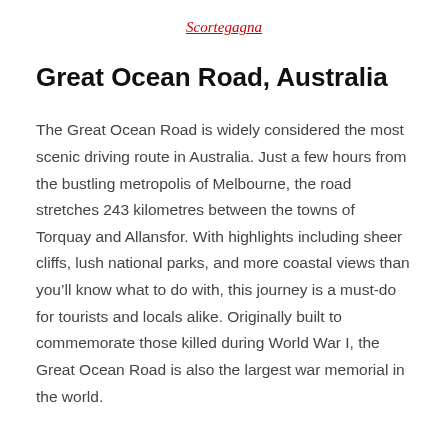Scortegagna
Great Ocean Road, Australia
The Great Ocean Road is widely considered the most scenic driving route in Australia. Just a few hours from the bustling metropolis of Melbourne, the road stretches 243 kilometres between the towns of Torquay and Allansfor. With highlights including sheer cliffs, lush national parks, and more coastal views than you’ll know what to do with, this journey is a must-do for tourists and locals alike. Originally built to commemorate those killed during World War I, the Great Ocean Road is also the largest war memorial in the world.